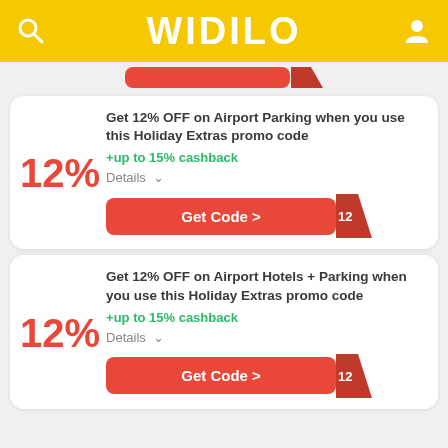WIDILO
Get 12% OFF on Airport Parking when you use this Holiday Extras promo code +up to 15% cashback
Get 12% OFF on Airport Hotels + Parking when you use this Holiday Extras promo code +up to 15% cashback